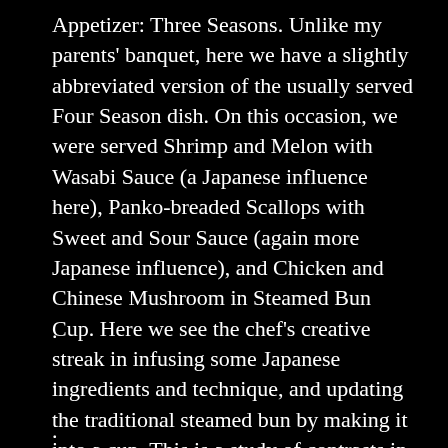Appetizer: Three Seasons. Unlike my parents' banquet, here we have a slightly abbreviated version of the usually served Four Season dish. On this occasion, we were served Shrimp and Melon with Wasabi Sauce (a Japanese influence here), Panko-breaded Scallops with Sweet and Sour Sauce (again more Japanese influence), and Chicken and Chinese Mushroom in Steamed Bun Cup. Here we see the chef's creative streak in infusing some Japanese ingredients and technique, and updating the traditional steamed bun by making it into a cup. This is a study of contrasts in flavors, ingredients, and textures, as most banquet first-courses showcase in their platters.
.
.
.